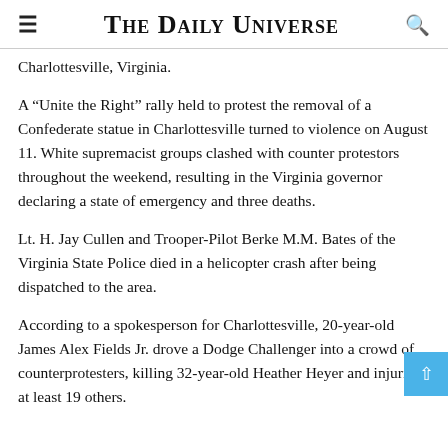The Daily Universe
Charlottesville, Virginia.
A “Unite the Right” rally held to protest the removal of a Confederate statue in Charlottesville turned to violence on August 11. White supremacist groups clashed with counter protestors throughout the weekend, resulting in the Virginia governor declaring a state of emergency and three deaths.
Lt. H. Jay Cullen and Trooper-Pilot Berke M.M. Bates of the Virginia State Police died in a helicopter crash after being dispatched to the area.
According to a spokesperson for Charlottesville, 20-year-old James Alex Fields Jr. drove a Dodge Challenger into a crowd of counterprotesters, killing 32-year-old Heather Heyer and injuring at least 19 others.